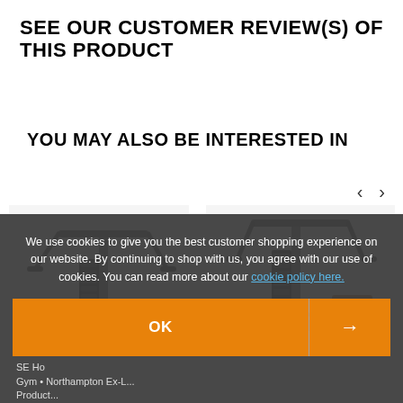SEE OUR CUSTOMER REVIEW(S) OF THIS PRODUCT
YOU MAY ALSO BE INTERESTED IN
[Figure (photo): Two gym/exercise machines shown side by side in a product carousel. Left: a multi-function home gym machine with pull-down bars. Right: another home gym tower machine. Navigation arrows (< >) visible top right.]
We use cookies to give you the best customer shopping experience on our website. By continuing to shop with us, you agree with our use of cookies. You can read more about our cookie policy here.
OK →
SE Home Gym • Northampton Ex-L... Product...